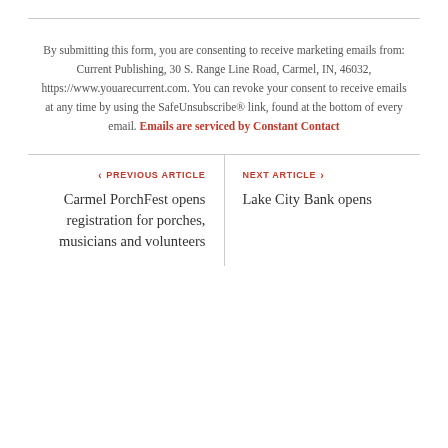By submitting this form, you are consenting to receive marketing emails from: Current Publishing, 30 S. Range Line Road, Carmel, IN, 46032, https://www.youarecurrent.com. You can revoke your consent to receive emails at any time by using the SafeUnsubscribe® link, found at the bottom of every email. Emails are serviced by Constant Contact
PREVIOUS ARTICLE
Carmel PorchFest opens registration for porches, musicians and volunteers
NEXT ARTICLE
Lake City Bank opens